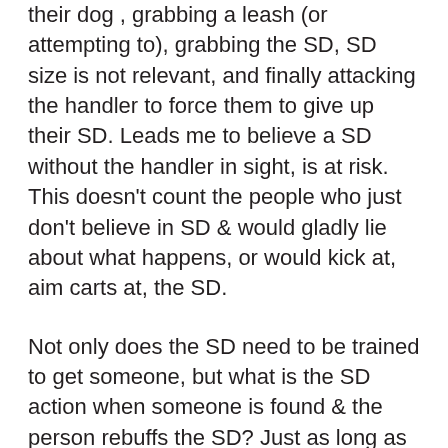their dog , grabbing a leash (or attempting to), grabbing the SD, SD size is not relevant, and finally attacking the handler to force them to give up their SD. Leads me to believe a SD without the handler in sight, is at risk. This doesn't count the people who just don't believe in SD & would gladly lie about what happens, or would kick at, aim carts at, the SD.
Not only does the SD need to be trained to get someone, but what is the SD action when someone is found & the person rebuffs the SD? Just as long as the handler is aware of the risks of the task. I get it. Sometimes the handler has no choice.